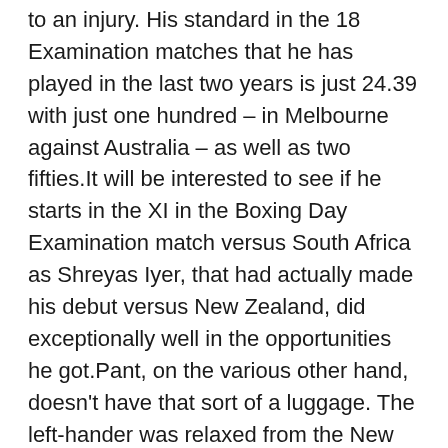to an injury. His standard in the 18 Examination matches that he has played in the last two years is just 24.39 with just one hundred – in Melbourne against Australia – as well as two fifties.It will be interested to see if he starts in the XI in the Boxing Day Examination match versus South Africa as Shreyas Iyer, that had actually made his debut versus New Zealand, did exceptionally well in the opportunities he got.Pant, on the various other hand, doesn't have that sort of a luggage. The left-hander was relaxed from the New Zealand Tests and would certainly aspire to make his mark in South Africa, where he is set to play his first Test.Promoted Meanwhile, India were taken care of a heavy as newly-appointed white-ball skipper as well as Test vice-captain Rohit Sharma was dismissed of the whole three-match Examination series with a hamstring injury. Gujarat opener Priyank Panchal was named in the team as Rohit's substitute. "Priyank Panchal replaces hurt Rohit Sharma in India's Examination team. Rohit endured a left hamstring